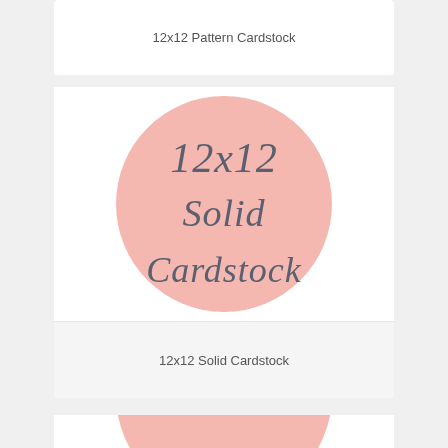12x12 Pattern Cardstock
[Figure (illustration): Pink circle with cursive text reading '12x12 Solid Cardstock' on white background]
12x12 Solid Cardstock
[Figure (illustration): Partially visible pink circle at bottom of page]